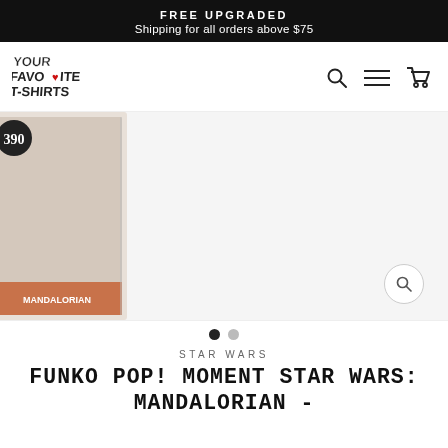FREE UPGRADED
Shipping for all orders above $75
[Figure (logo): Your Favorite T-Shirts logo with graffiti-style font and red heart icon]
[Figure (other): Funko Pop Moment Star Wars Mandalorian product box, showing number 390, partially cropped on the left side of the image area. Carousel with 2 dots (first active).]
STAR WARS
FUNKO POP! MOMENT STAR WARS: MANDALORIAN -